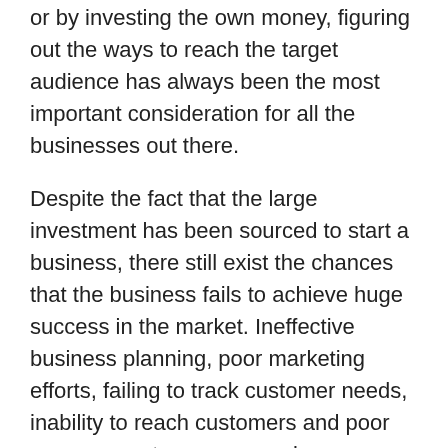or by investing the own money, figuring out the ways to reach the target audience has always been the most important consideration for all the businesses out there.
Despite the fact that the large investment has been sourced to start a business, there still exist the chances that the business fails to achieve huge success in the market. Ineffective business planning, poor marketing efforts, failing to track customer needs, inability to reach customers and poor management are some major reasons that become a cause of failure of the business. When failing to give attention to different aspects can risk the success of the business, giving equal emphasis to all these factors will ensure the